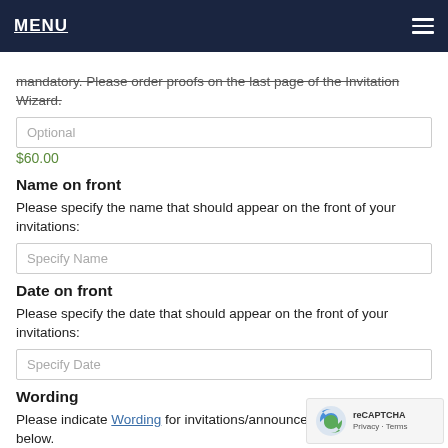MENU
mandatory. Please order proofs on the last page of the Invitation Wizard.
$60.00
Name on front
Please specify the name that should appear on the front of your invitations:
Date on front
Please specify the date that should appear on the front of your invitations:
Wording
Please indicate Wording for invitations/announcements in the fields below.
Note: Click on Wording for Sample Wording ideas.
Up to 14 lines of text are included. Additional lines will